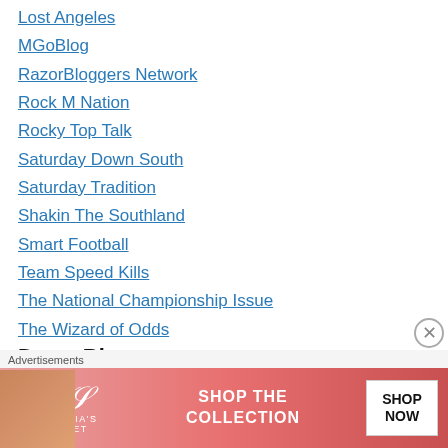Lost Angeles
MGoBlog
RazorBloggers Network
Rock M Nation
Rocky Top Talk
Saturday Down South
Saturday Tradition
Shakin The Southland
Smart Football
Team Speed Kills
The National Championship Issue
The Wizard of Odds
Tide Bits
Dawg Blogs
[Figure (other): Victoria's Secret advertisement banner with pink background, model photo, VS logo, 'SHOP THE COLLECTION' text, and 'SHOP NOW' button]